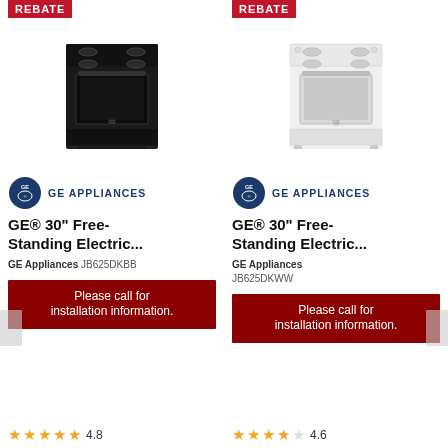[Figure (photo): Black GE 30 inch free-standing electric range with REBATE badge]
[Figure (logo): GE Appliances logo - left product]
GE® 30" Free-Standing Electric...
GE Appliances JB625DKBB
Please call for installation information.
[Figure (photo): White GE 30 inch free-standing electric range with REBATE badge]
[Figure (logo): GE Appliances logo - right product]
GE® 30" Free-Standing Electric...
GE Appliances JB625DKWW
Please call for installation information.
4.8
4.6